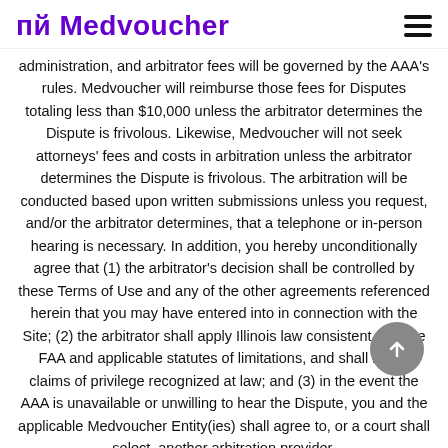Medvoucher
administration, and arbitrator fees will be governed by the AAA's rules. Medvoucher will reimburse those fees for Disputes totaling less than $10,000 unless the arbitrator determines the Dispute is frivolous. Likewise, Medvoucher will not seek attorneys' fees and costs in arbitration unless the arbitrator determines the Dispute is frivolous. The arbitration will be conducted based upon written submissions unless you request, and/or the arbitrator determines, that a telephone or in-person hearing is necessary. In addition, you hereby unconditionally agree that (1) the arbitrator's decision shall be controlled by these Terms of Use and any of the other agreements referenced herein that you may have entered into in connection with the Site; (2) the arbitrator shall apply Illinois law consistent with the FAA and applicable statutes of limitations, and shall honor claims of privilege recognized at law; and (3) in the event the AAA is unavailable or unwilling to hear the Dispute, you and the applicable Medvoucher Entity(ies) shall agree to, or a court shall select, another arbitration provider.
(b) No Class Action Matters. We each agree that we shall bring any Dispute against the other in our respective individual